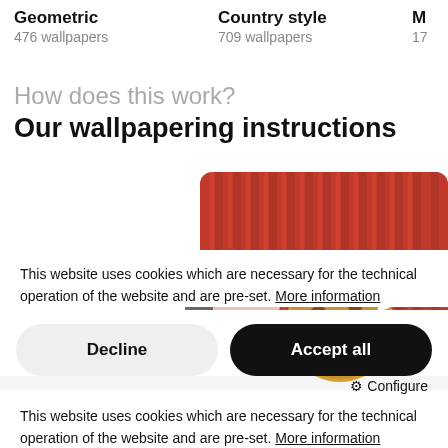Geometric 476 wallpapers | Country style 709 wallpapers | M 17...
How does this work?
Our wallpapering instructions
[Figure (illustration): Illustration of a person wearing a red beret and backpack, appearing to apply wallpaper to a red corrugated wall. A large cookie is overlaid in the foreground.]
This website uses cookies which are necessary for the technical operation of the website and are pre-set. More information
Decline
Accept all
⚙ Configure